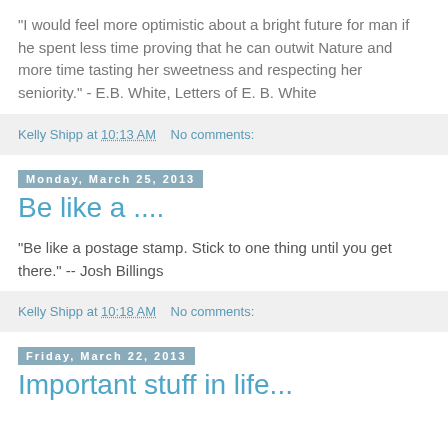“I would feel more optimistic about a bright future for man if he spent less time proving that he can outwit Nature and more time tasting her sweetness and respecting her seniority.” - E.B. White, Letters of E. B. White
Kelly Shipp at 10:13 AM   No comments:
Monday, March 25, 2013
Be like a ....
"Be like a postage stamp. Stick to one thing until you get there." -- Josh Billings
Kelly Shipp at 10:18 AM   No comments:
Friday, March 22, 2013
Important stuff in life...